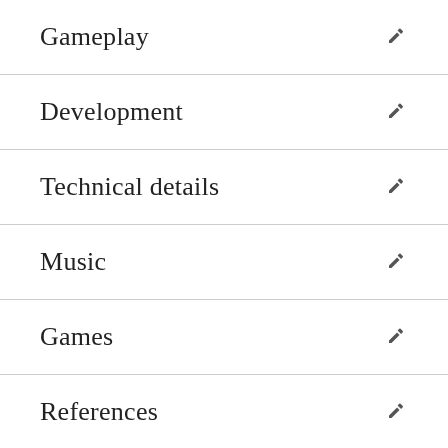Gameplay
Development
Technical details
Music
Games
References